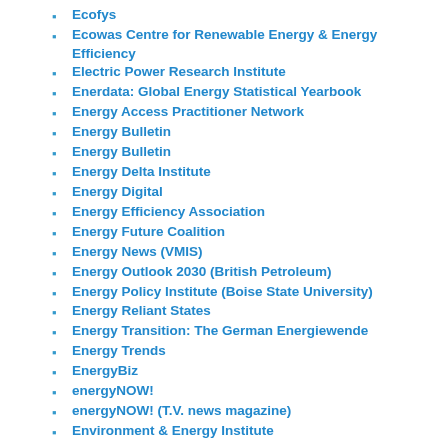Ecofys
Ecowas Centre for Renewable Energy & Energy Efficiency
Electric Power Research Institute
Enerdata: Global Energy Statistical Yearbook
Energy Access Practitioner Network
Energy Bulletin
Energy Bulletin
Energy Delta Institute
Energy Digital
Energy Efficiency Association
Energy Future Coalition
Energy News (VMIS)
Energy Outlook 2030 (British Petroleum)
Energy Policy Institute (Boise State University)
Energy Reliant States
Energy Transition: The German Energiewende
Energy Trends
EnergyBiz
energyNOW!
energyNOW! (T.V. news magazine)
Environment & Energy Institute